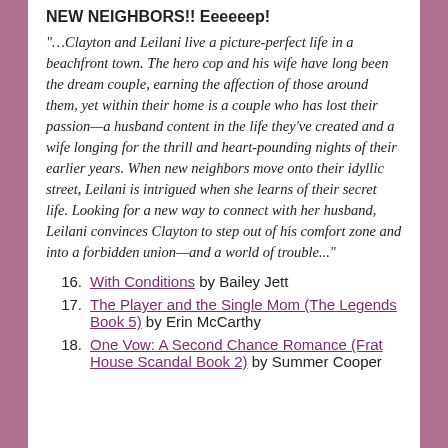NEW NEIGHBORS!! Eeeeeep!
“…Clayton and Leilani live a picture-perfect life in a beachfront town. The hero cop and his wife have long been the dream couple, earning the affection of those around them, yet within their home is a couple who has lost their passion—a husband content in the life they’ve created and a wife longing for the thrill and heart-pounding nights of their earlier years. When new neighbors move onto their idyllic street, Leilani is intrigued when she learns of their secret life. Looking for a new way to connect with her husband, Leilani convinces Clayton to step out of his comfort zone and into a forbidden union—and a world of trouble...”
16. With Conditions by Bailey Jett
17. The Player and the Single Mom (The Legends Book 5) by Erin McCarthy
18. One Vow: A Second Chance Romance (Frat House Scandal Book 2) by Summer Cooper